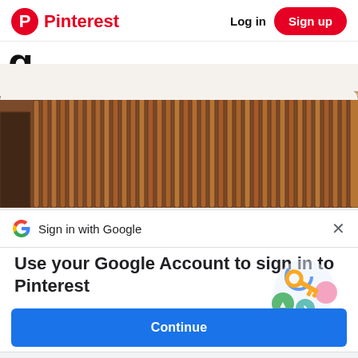Pinterest — Log in — Sign up
[Figure (screenshot): Partial large letter 'g' in black, likely continuation of text cut off by viewport]
[Figure (photo): Interior room photo showing wooden vertical slat wall panel with warm brown tones and a light ceiling]
Sign in with Google
Use your Google Account to sign in to Pinterest
No more passwords to remember. Signing in is fast, simple and secure.
[Figure (illustration): Google passkey illustration: a golden key with colorful circular icons representing different sign-in methods]
Continue